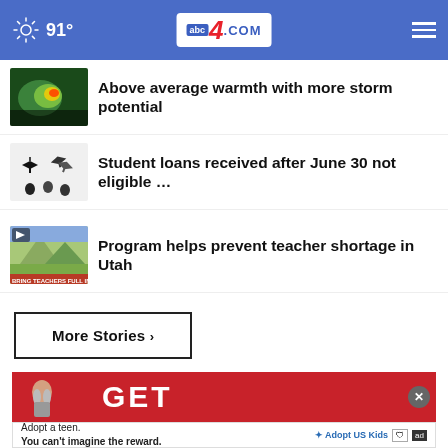91° abc4.com
Above average warmth with more storm potential
Student loans received after June 30 not eligible …
Program helps prevent teacher shortage in Utah
More Stories ›
[Figure (screenshot): Red advertisement banner with a person flexing muscles and text GET, with a close button]
Adopt a teen. You can't imagine the reward. Adopt US Kids ad
BLOOD PRESSURE